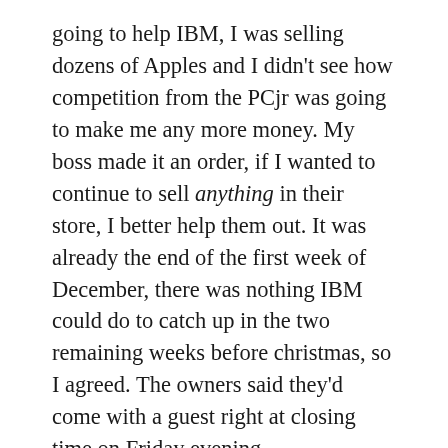going to help IBM, I was selling dozens of Apples and I didn't see how competition from the PCjr was going to make me any more money. My boss made it an order, if I wanted to continue to sell anything in their store, I better help them out. It was already the end of the first week of December, there was nothing IBM could do to catch up in the two remaining weeks before christmas, so I agreed. The owners said they'd come with a guest right at closing time on Friday evening.
The owners arrived at my locked-up empty store at the end of a long work week, and I was introduced to the VP of the IBM Personal Computer Division. There was no doubt I was